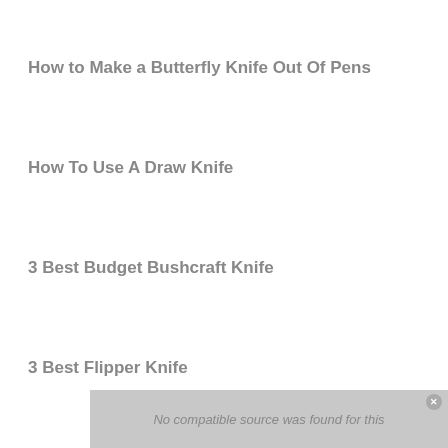How to Make a Butterfly Knife Out Of Pens
How To Use A Draw Knife
3 Best Budget Bushcraft Knife
3 Best Flipper Knife
[Figure (screenshot): Video player overlay at bottom showing 'No compatible source was found for this' message on a grey background with close button]